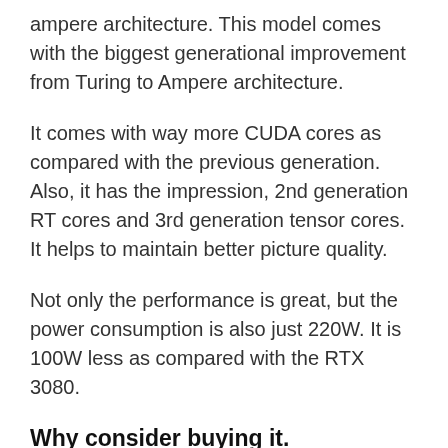ampere architecture. This model comes with the biggest generational improvement from Turing to Ampere architecture.
It comes with way more CUDA cores as compared with the previous generation. Also, it has the impression, 2nd generation RT cores and 3rd generation tensor cores. It helps to maintain better picture quality.
Not only the performance is great, but the power consumption is also just 220W. It is 100W less as compared with the RTX 3080.
Why consider buying it.
If you want to play games on 4k 50-60 fps then this graphics card is a great option. Even it